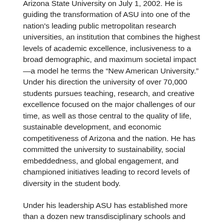Arizona State University on July 1, 2002. He is guiding the transformation of ASU into one of the nation's leading public metropolitan research universities, an institution that combines the highest levels of academic excellence, inclusiveness to a broad demographic, and maximum societal impact—a model he terms the “New American University.” Under his direction the university of over 70,000 students pursues teaching, research, and creative excellence focused on the major challenges of our time, as well as those central to the quality of life, sustainable development, and economic competitiveness of Arizona and the nation. He has committed the university to sustainability, social embeddedness, and global engagement, and championed initiatives leading to record levels of diversity in the student body.
Under his leadership ASU has established more than a dozen new transdisciplinary schools and large-scale research initiatives such as the